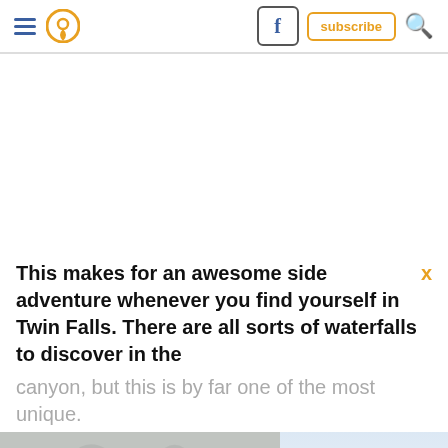Navigation header with hamburger menu, location pin icon, Facebook button, subscribe button, and search icon
This makes for an awesome side adventure whenever you find yourself in Twin Falls. There are all sorts of waterfalls to discover in the canyon, but this is by far one of the most unique.
[Figure (photo): Bottom portion of a canyon or rock wall image showing grey rocky texture on the left and sky on the right]